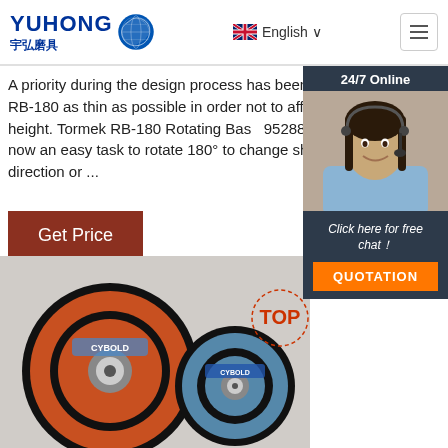YUHONG 宇弘磨具 | English
A priority during the design process has been to make the RB-180 as thin as possible in order not to affect working height. Tormek RB-180 Rotating Base 952887 eBay It is now an easy task to rotate 180° to change sharpening direction or ...
Get Price
[Figure (photo): Customer service representative with headset, 24/7 Online widget overlay with Click here for free chat! and QUOTATION button]
[Figure (photo): Two abrasive cutting/grinding discs branded CYBOLD shown side by side on light background, with TOP badge overlay]